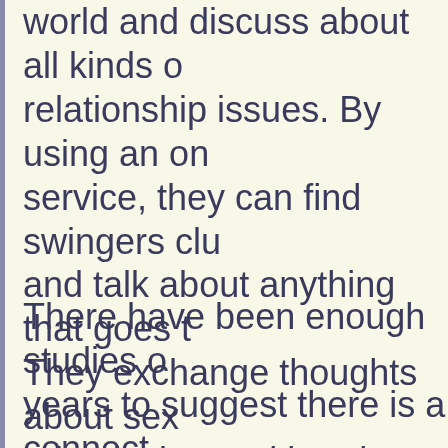world and discuss about all kinds of relationship issues. By using an online service, they can find swingers clubs and talk about anything that goes through. They exchange thoughts about sex, role playing and bondage games, that helps them to practice.
There have been enough studies done over the years to suggest there is a connection between pheromones and attraction. The animals have been "pheromone conscious" for ages but the question remains, do humans r...